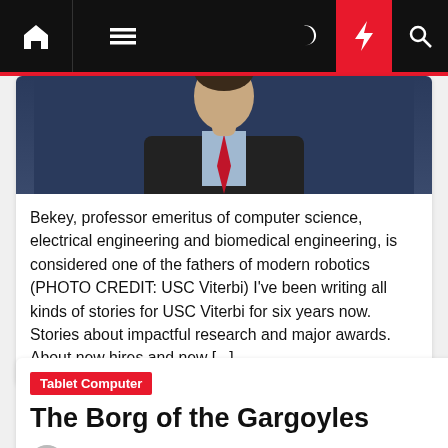Navigation bar with home, menu, dark mode, bolt/trending, and search icons
[Figure (photo): Partial photo of a man in a dark suit with red tie, cropped at upper torso level, against a dark blue background]
Bekey, professor emeritus of computer science, electrical engineering and biomedical engineering, is considered one of the fathers of modern robotics (PHOTO CREDIT: USC Viterbi) I've been writing all kinds of stories for USC Viterbi for six years now. Stories about impactful research and major awards. About new hires and new [...]
Tablet Computer
The Borg of the Gargoyles